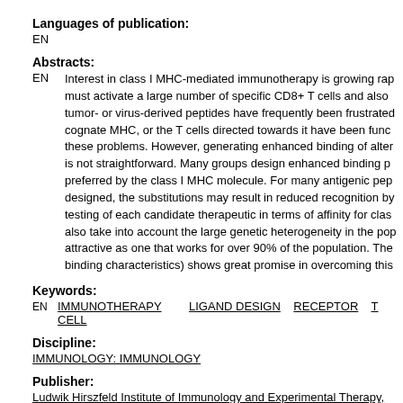Languages of publication:
EN
Abstracts:
EN   Interest in class I MHC-mediated immunotherapy is growing rap must activate a large number of specific CD8+ T cells and also tumor- or virus-derived peptides have frequently been frustrated cognate MHC, or the T cells directed towards it have been func these problems. However, generating enhanced binding of alter is not straightforward. Many groups design enhanced binding p preferred by the class I MHC molecule. For many antigenic pep designed, the substitutions may result in reduced recognition by testing of each candidate therapeutic in terms of affinity for clas also take into account the large genetic heterogeneity in the pop attractive as one that works for over 90% of the population. The binding characteristics) shows great promise in overcoming this
Keywords:
EN  IMMUNOTHERAPY   LIGAND DESIGN   RECEPTOR   T CELL
Discipline:
IMMUNOLOGY: IMMUNOLOGY
Publisher:
Ludwik Hirszfeld Institute of Immunology and Experimental Therapy,
Journal:
Archivum Immunologiae et Therapiae Experimentalis